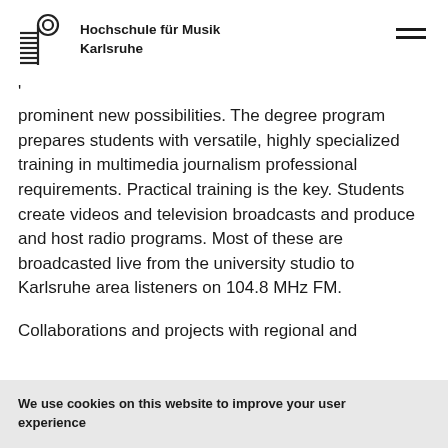Hochschule für Musik Karlsruhe
'
prominent new possibilities. The degree program prepares students with versatile, highly specialized training in multimedia journalism professional requirements. Practical training is the key. Students create videos and television broadcasts and produce and host radio programs. Most of these are broadcasted live from the university studio to Karlsruhe area listeners on 104.8 MHz FM.

Collaborations and projects with regional and
We use cookies on this website to improve your user experience